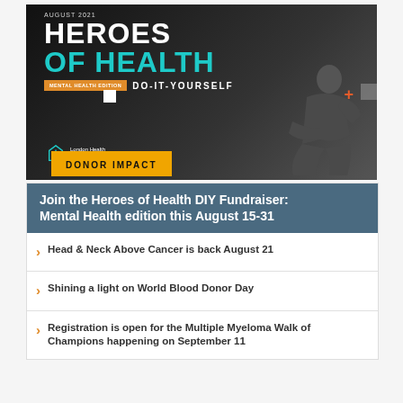[Figure (illustration): Heroes of Health DIY Fundraiser event banner image showing a person sitting with knees drawn up in a dark/monochrome style. Text overlay reads 'HEROES OF HEALTH' with 'OF HEALTH' in teal, 'DO-IT-YOURSELF', 'MENTAL HEALTH EDITION' badge in orange, and London Health Sciences Foundation logo. Decorative geometric elements.]
DONOR IMPACT
Join the Heroes of Health DIY Fundraiser: Mental Health edition this August 15-31
Head & Neck Above Cancer is back August 21
Shining a light on World Blood Donor Day
Registration is open for the Multiple Myeloma Walk of Champions happening on September 11